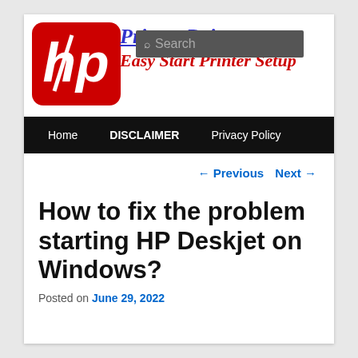[Figure (logo): HP logo — red rounded square with white HP script letters]
Printer Drivers
Easy Start Printer Setup
[Figure (screenshot): Search box overlay on header with magnifying glass icon and 'Search' placeholder text]
Home   DISCLAIMER   Privacy Policy
← Previous   Next →
How to fix the problem starting HP Deskjet on Windows?
Posted on June 29, 2022